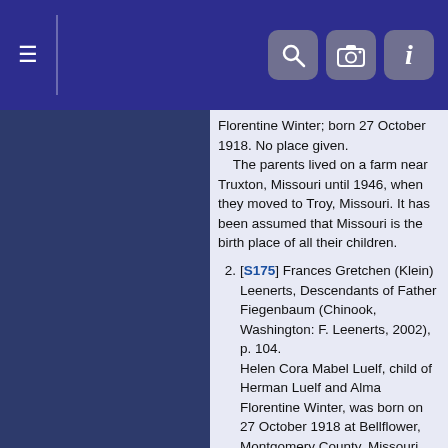Navigation header with hamburger menu, search, camera, and info icons
Florentine Winter; born 27 October 1918. No place given.
    The parents lived on a farm near Truxton, Missouri until 1946, when they moved to Troy, Missouri. It has been assumed that Missouri is the birth place of all their children.
2. [S175] Frances Gretchen (Klein) Leenerts, Descendants of Father Fiegenbaum (Chinook, Washington: F. Leenerts, 2002), p. 104.
Helen Cora Mabel Luelf, child of Herman Luelf and Alma Florentine Winter, was born on 27 October 1918 at Bellflower, Montgomery County, Missouri.
3. [S33] Carolyn (Fiegenbaum) Fieker, Genealogical reseach.
Herman Luelf and Alma Winter; married.
4. [S121] Alvina Mordt, Winter Family Genealogy (typescript, [about 1976-77?]), page 11.
Herman Luelf and Alma Winter; married. No date or place given. "...they lived on a farm near Truxton,